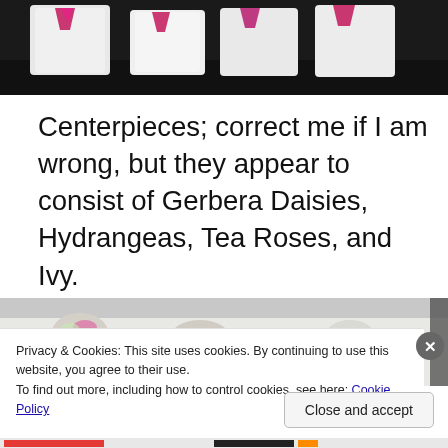[Figure (photo): Top portion of a photo showing white garments/bags with pink accents on a dark background]
Centerpieces; correct me if I am wrong, but they appear to consist of Gerbera Daisies, Hydrangeas, Tea Roses, and Ivy.
[Figure (photo): Partial photo of floral centerpieces with white and green flowers on a table]
Privacy & Cookies: This site uses cookies. By continuing to use this website, you agree to their use.
To find out more, including how to control cookies, see here: Cookie Policy
Close and accept